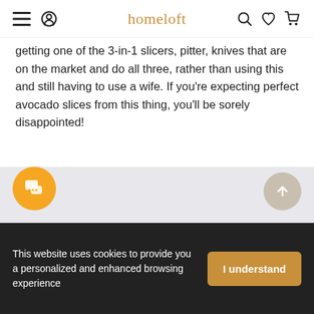homeloft
getting one of the 3-in-1 slicers, pitter, knives that are on the market and do all three, rather than using this and still having to use a wife. If you're expecting perfect avocado slices from this thing, you'll be sorely disappointed!
2 (star rating: 2 out of 5)
See All Reviews
This website uses cookies to provide you a personalized and enhanced browsing experience
I understand